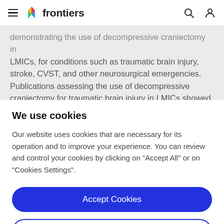frontiers
demonstrating the use of decompressive craniectomy in LMICs, for conditions such as traumatic brain injury, stroke, CVST, and other neurosurgical emergencies. Publications assessing the use of decompressive craniectomy for traumatic brain injury in LMICs showed
We use cookies
Our website uses cookies that are necessary for its operation and to improve your experience. You can review and control your cookies by clicking on "Accept All" or on "Cookies Settings".
Accept Cookies
Cookies Settings